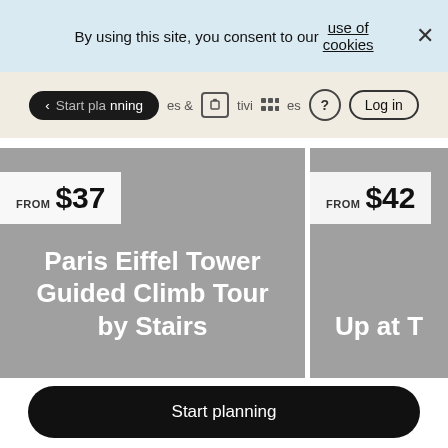By using this site, you consent to our use of cookies
[Figure (screenshot): Navigation bar with Start planning pill button, activities icons, question mark icon, and Log in button]
FROM $37
Paris Eiffel Tower Guided Climb Tour by Stairs
FROM $42
Up at T
Start planning